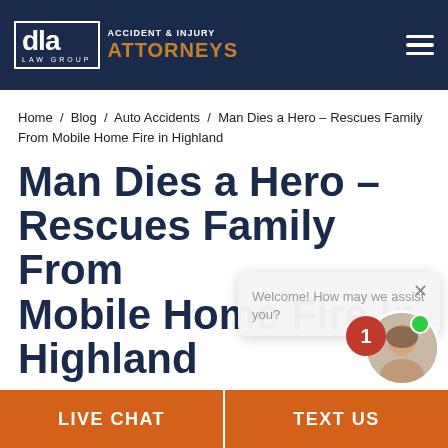DLA Law Group — Accident & Injury Attorneys
Home / Blog / Auto Accidents / Man Dies a Hero – Rescues Family From Mobile Home Fire in Highland
Man Dies a Hero – Rescues Family From Mobile Home Fire in Highland
[Figure (screenshot): Live chat widget popup with message 'Welcome! How may we assist you?' and close button, overlaid on page content]
LIVE CHAT   TEXT US